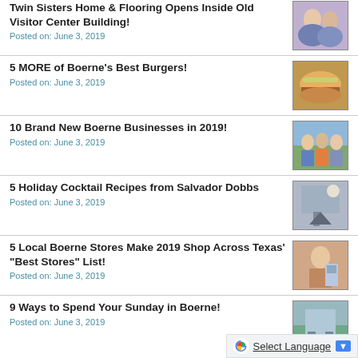Twin Sisters Home & Flooring Opens Inside Old Visitor Center Building!
Posted on: June 3, 2019
5 MORE of Boerne's Best Burgers!
Posted on: June 3, 2019
10 Brand New Boerne Businesses in 2019!
Posted on: June 3, 2019
5 Holiday Cocktail Recipes from Salvador Dobbs
Posted on: June 3, 2019
5 Local Boerne Stores Make 2019 Shop Across Texas' "Best Stores" List!
Posted on: June 3, 2019
9 Ways to Spend Your Sunday in Boerne!
Posted on: June 3, 2019
Select Language